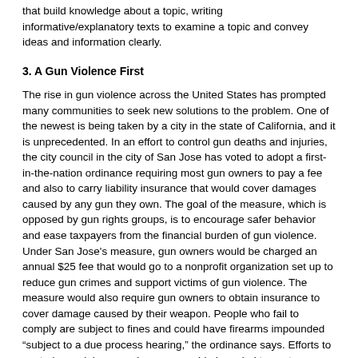that build knowledge about a topic, writing informative/explanatory texts to examine a topic and convey ideas and information clearly.
3. A Gun Violence First
The rise in gun violence across the United States has prompted many communities to seek new solutions to the problem. One of the newest is being taken by a city in the state of California, and it is unprecedented. In an effort to control gun deaths and injuries, the city council in the city of San Jose has voted to adopt a first-in-the-nation ordinance requiring most gun owners to pay a fee and also to carry liability insurance that would cover damages caused by any gun they own. The goal of the measure, which is opposed by gun rights groups, is to encourage safer behavior and ease taxpayers from the financial burden of gun violence. Under San Jose's measure, gun owners would be charged an annual $25 fee that would go to a nonprofit organization set up to reduce gun crimes and support victims of gun violence. The measure would also require gun owners to obtain insurance to cover damage caused by their weapon. People who fail to comply are subject to fines and could have firearms impounded “subject to a due process hearing,” the ordinance says. Efforts to control gun violence and gun ownership have led to controversy, debate and lawsuits all over the nation. In the newspaper or online, find and closely read stories about different efforts and the reaction they have generated. Use what you read to write an editorial outlining how you think communities should respond to gun violence.
Common Core State Standards: Reading closely what a text says